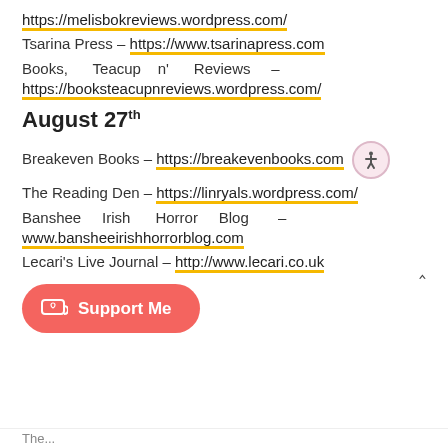https://melisbokreviews.wordpress.com/
Tsarina Press – https://www.tsarinapress.com
Books, Teacup n' Reviews – https://booksteacupnreviews.wordpress.com/
August 27th
Breakeven Books – https://breakevenbooks.com
The Reading Den – https://linryals.wordpress.com/
Banshee Irish Horror Blog – www.bansheeirishhorrorblog.com
Lecari's Live Journal – http://www.lecari.co.uk
Support Me
The...